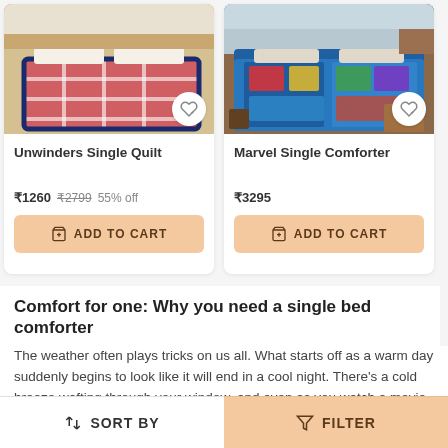[Figure (photo): Product card for Unwinders Single Quilt showing a plaid red and blue quilt on a bed in a bright room]
[Figure (photo): Product card for Marvel Single Comforter showing a colorful comic-themed comforter on a bed]
Comfort for one: Why you need a single bed comforter
The weather often plays tricks on us all. What starts off as a warm day suddenly begins to look like it will end in a cool night. There's a cold breeze wafting through your window, and even as you watch a movie in bed, you can feel the chill in the air. The thin cotton top sheet you've been using at night will hardly offer
SORT BY   FILTER